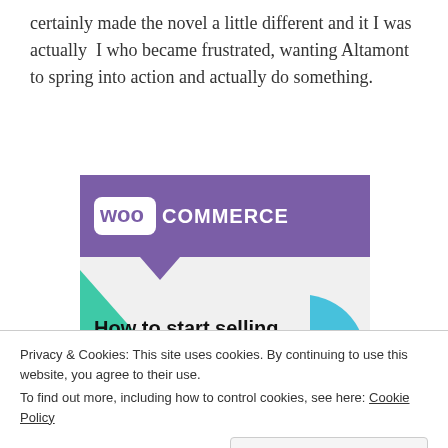certainly made the novel a little different and it I was actually  I who became frustrated, wanting Altamont to spring into action and actually do something.
[Figure (screenshot): WooCommerce advertisement banner showing 'How to start selling subscriptions online' with purple header, teal triangle shape, and blue curved shape on white background.]
Privacy & Cookies: This site uses cookies. By continuing to use this website, you agree to their use.
To find out more, including how to control cookies, see here: Cookie Policy
Close and accept
commonsense and a real sense of duty, not only to her